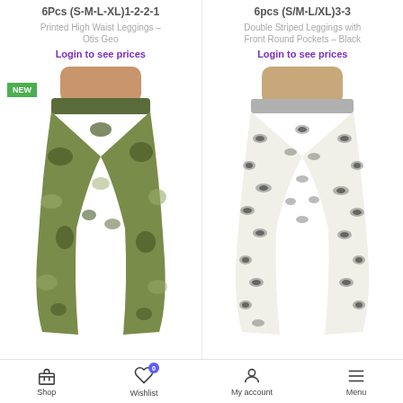6Pcs (S-M-L-XL)1-2-2-1
Printed High Waist Leggings – Otis Geo
Login to see prices
6pcs (S/M-L/XL)3-3
Double Striped Leggings with Front Round Pockets – Black
Login to see prices
[Figure (photo): Green camouflage high waist leggings on a model torso, with a NEW badge in green]
[Figure (photo): White leopard print leggings on a model torso, with -37% and CLEARANCE badges in purple]
Shop  Wishlist 0  My account  Menu